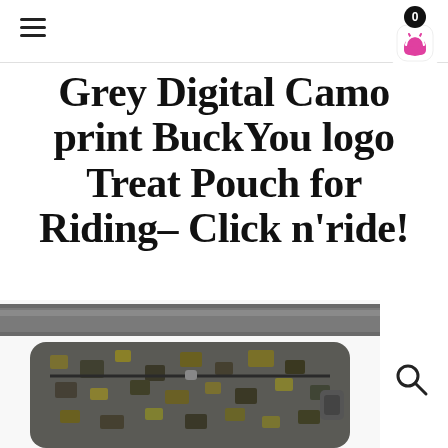Navigation bar with hamburger menu and cart icon showing 0 items
Grey Digital Camo print BuckYou logo Treat Pouch for Riding– Click n'ride!
Vikki / November 16, 2020
[Figure (photo): Grey digital camouflage print treat pouch/fanny pack with grey strap, partially visible at bottom of page]